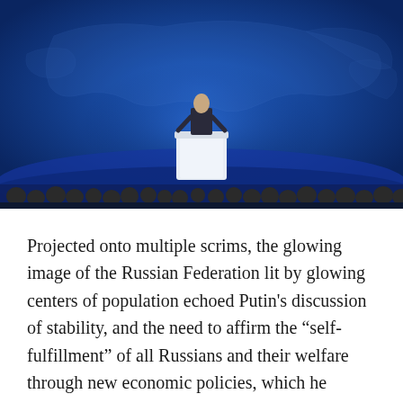[Figure (photo): A person standing at a white podium on a large blue-lit stage, with a projected world map of Russia glowing behind them. An audience is visible in the foreground with heads seen from behind.]
Projected onto multiple scrims, the glowing image of the Russian Federation lit by glowing centers of population echoed Putin’s discussion of stability, and the need to affirm the “self-fulfillment” of all Russians and their welfare through new economic policies, which he assured them had nothing to do with the upcoming elections, but